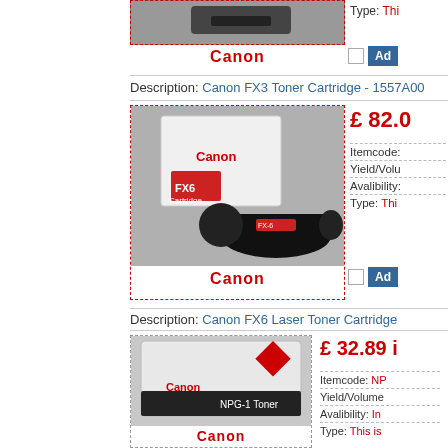[Figure (photo): Canon FX3 toner cartridge product photo (partial, top of page)]
Type: Thi...
Canon
Add
Description: Canon FX3 Toner Cartridge - 1557A00
[Figure (photo): Canon FX6 Laser Toner Cartridge product photo with box]
£ 82.0
Itemcode:
Yield/Volu...
Avalibility:
Type: Thi...
Canon
Add
Description: Canon FX6 Laser Toner Cartridge
[Figure (photo): Canon NPG-1 Toner product box photo]
£ 32.89 i...
Itemcode: NP...
Yield/Volume
Avalibility: In...
Type: This is...
Canon